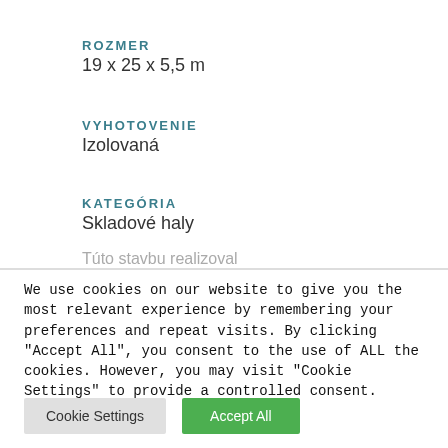ROZMER
19 x 25 x 5,5 m
VYHOTOVENIE
Izolovaná
KATEGÓRIA
Skladové haly
Túto stavbu realizoval
We use cookies on our website to give you the most relevant experience by remembering your preferences and repeat visits. By clicking "Accept All", you consent to the use of ALL the cookies. However, you may visit "Cookie Settings" to provide a controlled consent.